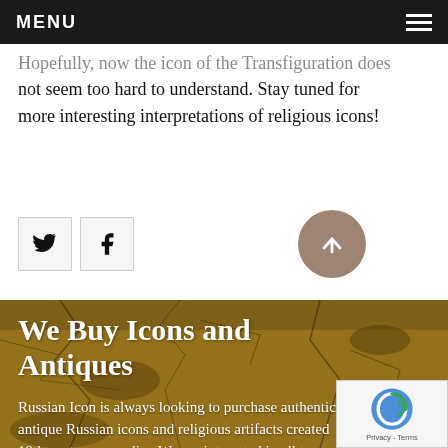MENU
Hopefully, now the icon of the Transfiguration does not seem too hard to understand. Stay tuned for more interesting interpretations of religious icons!
[Figure (other): Twitter and Facebook social share icon buttons, and a scroll-to-top circular button]
[Figure (photo): Cracked antique icon texture background with overlaid text: 'We Buy Icons and Antiques' and paragraph beginning 'Russian Icon is always looking to purchase authentic antique Russian icons and religious artifacts created 19th century or earlier. We are interested in all types quality hand-painted icons and relics. Our team of']
We Buy Icons and Antiques
Russian Icon is always looking to purchase authentic antique Russian icons and religious artifacts created 19th century or earlier. We are interested in all types quality hand-painted icons and relics. Our team of